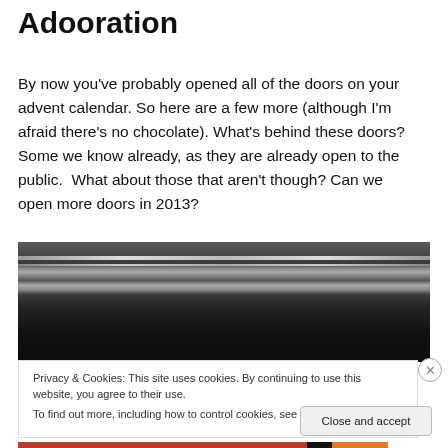Adooration
By now you've probably opened all of the doors on your advent calendar. So here are a few more (although I'm afraid there's no chocolate). What's behind these doors? Some we know already, as they are already open to the public.  What about those that aren't though? Can we open more doors in 2013?
[Figure (photo): Close-up photograph of what appears to be metal door hinges or rails, dark metallic surfaces with horizontal lines/edges visible]
Privacy & Cookies: This site uses cookies. By continuing to use this website, you agree to their use.
To find out more, including how to control cookies, see here: Cookie Policy
Close and accept